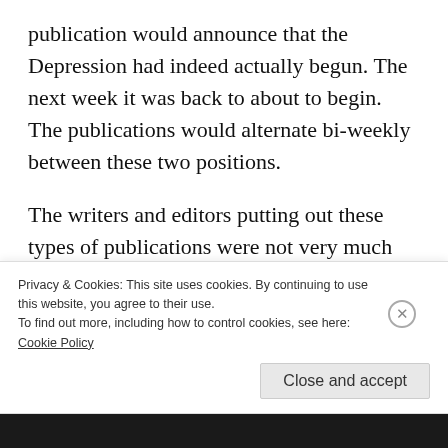publication would announce that the Depression had indeed actually begun. The next week it was back to about to begin. The publications would alternate bi-weekly between these two positions.
The writers and editors putting out these types of publications were not very much influenced by what was actually happening in the economy—whether it was booming or in recession over involvement
Privacy & Cookies: This site uses cookies. By continuing to use this website, you agree to their use.
To find out more, including how to control cookies, see here:
Cookie Policy